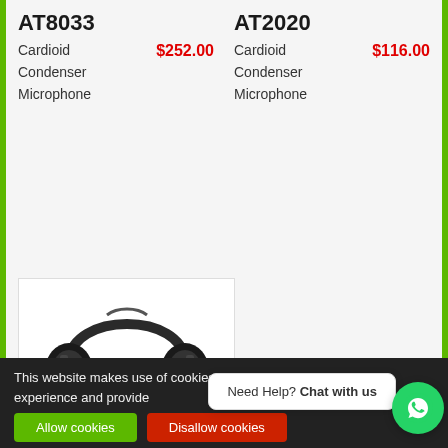AT8033
Cardioid Condenser Microphone $252.00
AT2020
Cardioid Condenser Microphone $116.00
[Figure (photo): Audio-Technica ATH-T300 headphones, black over-ear style, shown on white background]
audio-technica
ATH-T300
This website makes use of cookies to enhance browsing experience and provide
Need Help? Chat with us
Allow cookies
Disallow cookies